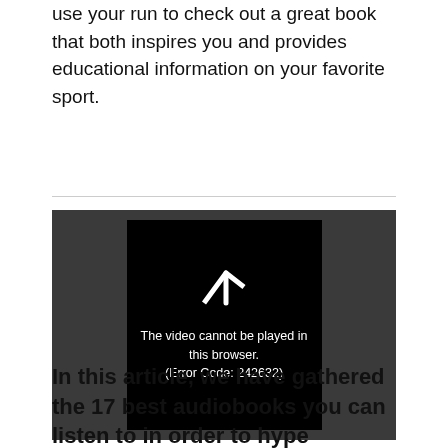use your run to check out a great book that both inspires you and provides educational information on your favorite sport.
[Figure (screenshot): Video player showing an error message: 'The video cannot be played in this browser. (Error Code: 242632)' on a black overlay with a play icon, set against a dark gray background.]
In this article, we have gathered the 17 best audiobooks you can listen to in order to hype up your running experience. These